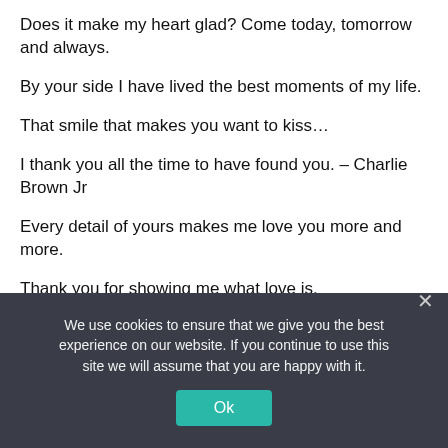Does it make my heart glad? Come today, tomorrow and always.
By your side I have lived the best moments of my life.
That smile that makes you want to kiss…
I thank you all the time to have found you. – Charlie Brown Jr
Every detail of yours makes me love you more and more.
Thank you for showing me what love is.
I saw so many gifts and messages for Valentine's Day, but none of them managed to captivate me, because I couldn't find anything that summed up the meaning you have in my life.
We use cookies to ensure that we give you the best experience on our website. If you continue to use this site we will assume that you are happy with it.